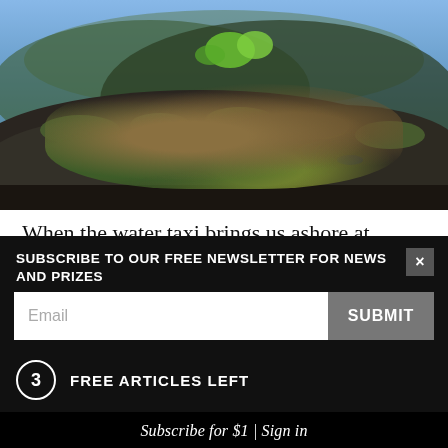[Figure (photo): Close-up nature photo showing rocks, mussels, seaweed and green plants, with blue sky visible at the top. Dark textured rocks covered in marine vegetation and shells.]
When the water taxi brings us ashore at Otata's stony beach, Sue Neureuter is there in the shallows to greet us: tanned, in her togs, with a bucket full of huge mussels she's just collected. Sue, Rod and their sister Zoe may be the islands' owners, but they prefer the
SUBSCRIBE TO OUR FREE NEWSLETTER FOR NEWS AND PRIZES
Email
SUBMIT
3 FREE ARTICLES LEFT
Subscribe for $1 | Sign in